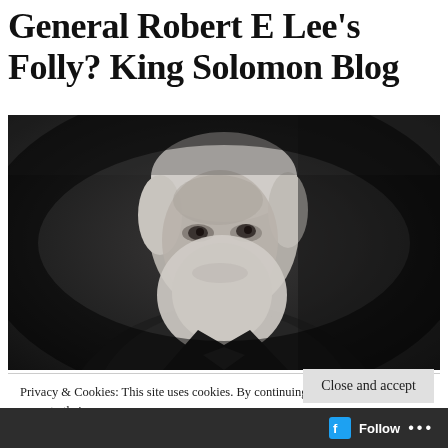General Robert E Lee's Folly? King Solomon Blog
[Figure (photo): Black and white portrait photograph of General Robert E. Lee, showing an older man with white hair and a full white beard, wearing a dark military jacket, looking slightly upward and to the side.]
Privacy & Cookies: This site uses cookies. By continuing to use this website, you agree to their use.
To find out more, including how to control cookies, see here: Our Cookie Policy
Close and accept
Follow ...